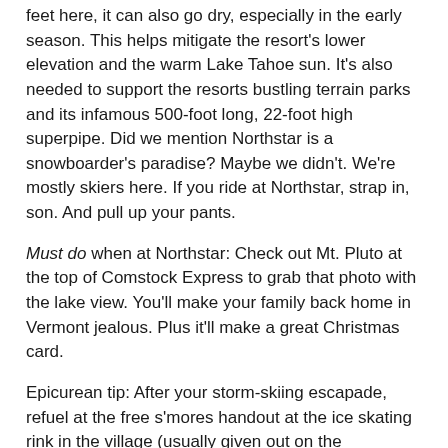feet here, it can also go dry, especially in the early season. This helps mitigate the resort's lower elevation and the warm Lake Tahoe sun. It's also needed to support the resorts bustling terrain parks and its infamous 500-foot long, 22-foot high superpipe. Did we mention Northstar is a snowboarder's paradise? Maybe we didn't. We're mostly skiers here. If you ride at Northstar, strap in, son. And pull up your pants.
Must do when at Northstar: Check out Mt. Pluto at the top of Comstock Express to grab that photo with the lake view. You'll make your family back home in Vermont jealous. Plus it'll make a great Christmas card.
Epicurean tip: After your storm-skiing escapade, refuel at the free s'mores handout at the ice skating rink in the village (usually given out on the weekends). Need more carbs, you say? There's S'moresapalooza in late spring. Details are too gluttonous to repeat here, so you'll have to Google it yourself.
Rumor Alert: Between you, us and the largest alpine lake in the world, we hear that Lake Tahoe resort owners are angling for a bid to host the 2022 Olympics; if you didn't know, the Olympics